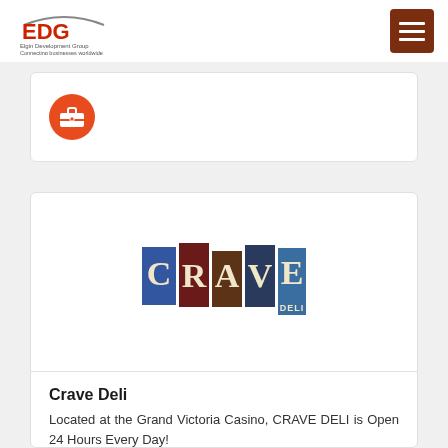EDG - Elgin Development Group - Connecting businesses worldwide
[Figure (logo): Orange briefcase icon inside an orange circle]
[Figure (logo): CRAVE DELI logo with colored block letters - C in blue, R in dark red, A in brown, V in dark blue, E in blue, DELI in small text on blue block]
Crave Deli
Located at the Grand Victoria Casino, CRAVE DELI is Open 24 Hours Every Day!